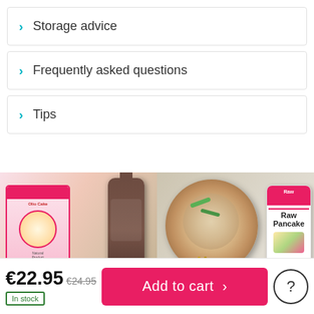Storage advice
Frequently asked questions
Tips
[Figure (photo): Product photos: pink food package and chocolate sauce bottle on left; pizza/flatbread dish with Raw Pancake tube on right]
€22.95 €24.95
In stock
Add to cart >